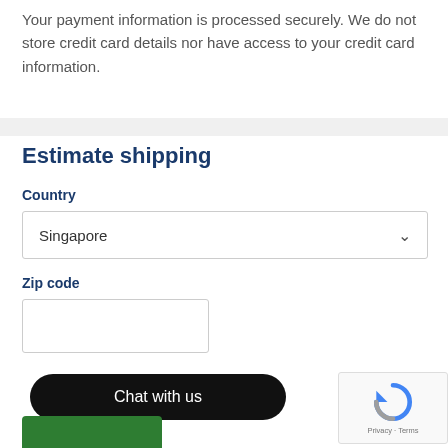Your payment information is processed securely. We do not store credit card details nor have access to your credit card information.
Estimate shipping
Country
Singapore
Zip code
[Figure (screenshot): Chat with us button (black rounded rectangle), green bar at bottom left, reCAPTCHA widget at bottom right showing Privacy · Terms]